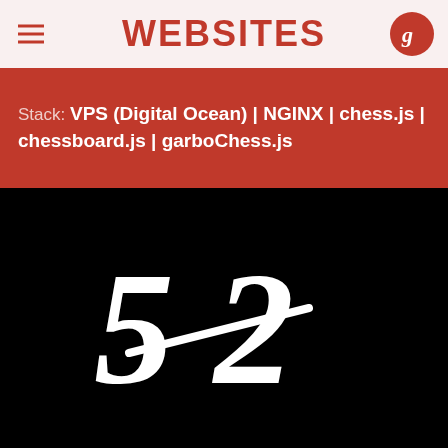WEBSITES
Stack: VPS (Digital Ocean) | NGINX | chess.js | chessboard.js | garboChess.js
[Figure (logo): Large stylized fraction 5/2 in white italic serif font on black background, with a diagonal strikethrough line]